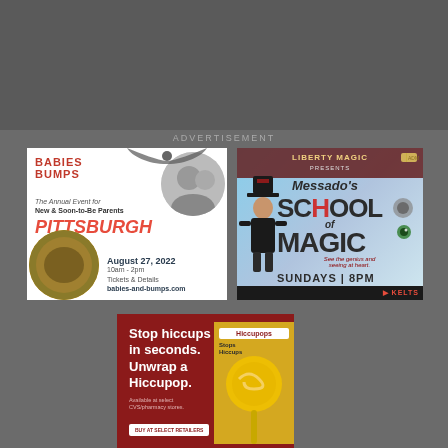[Figure (illustration): Dark gray header area at top of page]
ADVERTISEMENT
[Figure (illustration): Babies & Bumps event ad for Pittsburgh (Cranberry) - The Annual Event for New & Soon-to-Be Parents. August 27, 2022, 10am - 2pm. Tickets & Details: babies-and-bumps.com]
[Figure (illustration): Liberty Magic presents Messado's School of Magic - Sundays 8pm advertisement]
[Figure (illustration): Hiccupop ad - Stop hiccups in seconds. Unwrap a Hiccupop. Available at select CVS/pharmacy stores.]